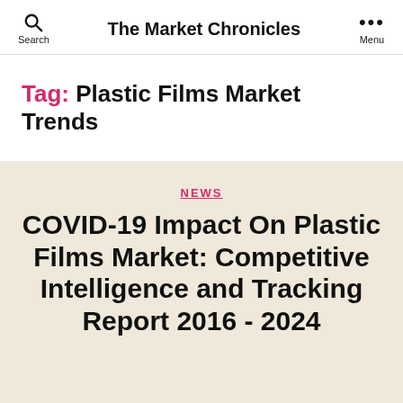Search | The Market Chronicles | Menu
Tag: Plastic Films Market Trends
NEWS
COVID-19 Impact On Plastic Films Market: Competitive Intelligence and Tracking Report 2016 - 2024